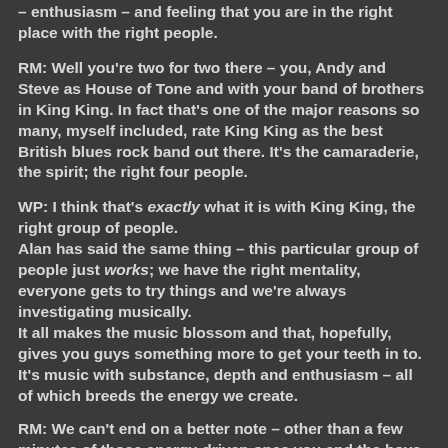– enthusiasm – and feeling that you are in the right place with the right people.
RM: Well you're two for two there – you, Andy and Steve as House of Tone and with your band of brothers in King King. In fact that's one of the major reasons so many, myself included, rate King King as the best British blues rock band out there. It's the camaraderie, the spirit; the right four people.
WP: I think that's exactly what it is with King King, the right group of people.
Alan has said the same thing – this particular group of people just works; we have the right mentality, everyone gets to try things and we're always investigating musically.
It all makes the music blossom and that, hopefully, gives you guys something more to get your teeth in to. It's music with substance, depth and enthusiasm – all of which breeds the energy we create.
RM: We can't end on a better note – other than a few minutes of those energy-driven ones you and the boys create.